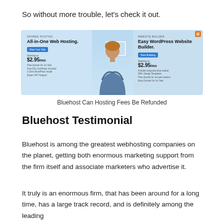So without more trouble, let's check it out.
[Figure (screenshot): Bluehost website banner showing 'All-in-One Web Hosting' on the left and 'Easy WordPress Website Builder' on the right, with a person in the center, both sections showing $2.95/mo pricing and blue CTA buttons.]
Bluehost Can Hosting Fees Be Refunded
Bluehost Testimonial
Bluehost is among the greatest webhosting companies on the planet, getting both enormous marketing support from the firm itself and associate marketers who advertise it.
It truly is an enormous firm, that has been around for a long time, has a large track record, and is definitely among the leading